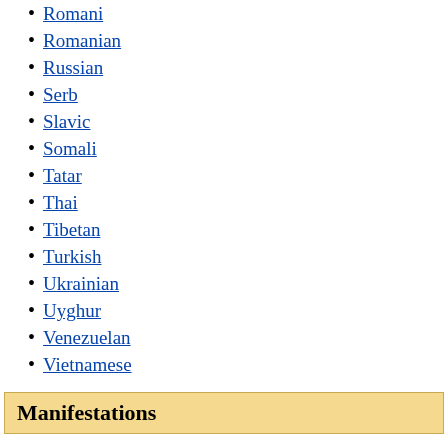Romani
Romanian
Russian
Serb
Slavic
Somali
Tatar
Thai
Tibetan
Turkish
Ukrainian
Uyghur
Venezuelan
Vietnamese
Manifestations
Blood libel
Bullying
online
Compulsory sterilization
Corrective rape
Counter-jihad
Cultural genocide
Defamation